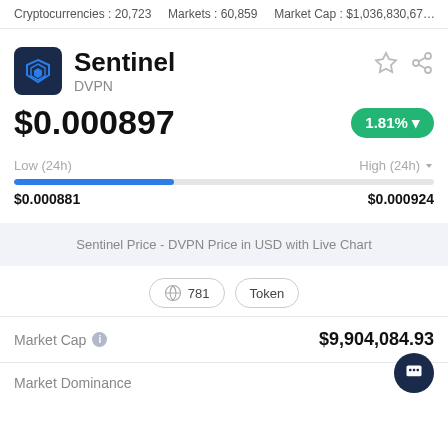Cryptocurrencies : 20,723   Markets : 60,859   Market Cap : $1,036,830,67…
Sentinel DVPN
$0.000897
1.81% ▼
Low (24h)   High (24h) ▼
$0.000881   $0.000924
Sentinel Price - DVPN Price in USD with Live Chart
781   Token
Market Cap   $9,904,084.93
Market Dominance